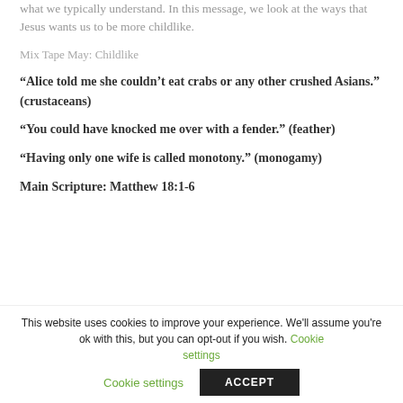what we typically understand. In this message, we look at the ways that Jesus wants us to be more childlike.
Mix Tape May: Childlike
“Alice told me she couldn’t eat crabs or any other crushed Asians.” (crustaceans)
“You could have knocked me over with a fender.” (feather)
“Having only one wife is called monotony.” (monogamy)
Main Scripture: Matthew 18:1-6
(partial line visible at bottom of content area)
This website uses cookies to improve your experience. We’ll assume you’re ok with this, but you can opt-out if you wish. Cookie settings ACCEPT